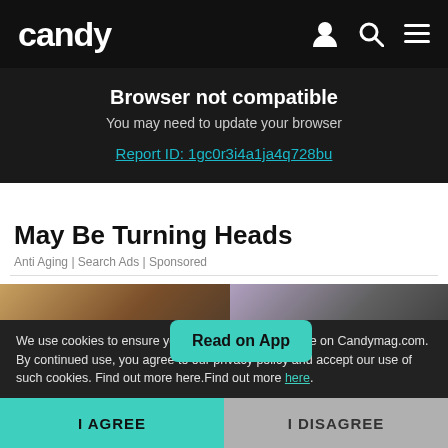candy
Browser not compatible
You may need to update your browser
Report ID: 1gc0r3i4a1ja4q728bu
May Be Turning Heads
Anti Aging | Search Ads | Sponsored
[Figure (photo): Two photos side by side: left shows a smiling couple (young man and woman) in warm tones; right shows a black and white image of people in formal/church setting. A teal 'Read on App' button overlays the center.]
We use cookies to ensure you get the best experience on Candymag.com. By continued use, you agree to our privacy policy and accept our use of such cookies. Find out more here.Find out more here.
I AGREE
I DISAGREE